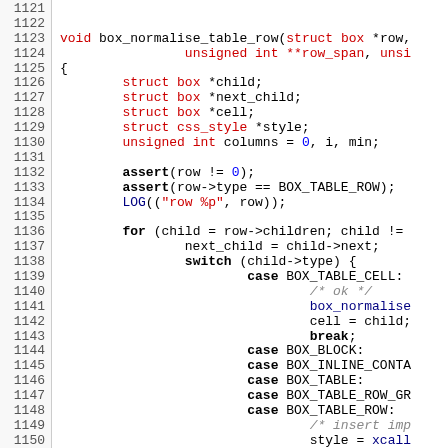[Figure (screenshot): Source code listing showing C function box_normalise_table_row with line numbers 1121-1150. The code includes variable declarations, assert statements, a for loop, and a switch statement with cases for BOX_TABLE_CELL, BOX_BLOCK, BOX_INLINE_CONTAINER, BOX_TABLE, BOX_TABLE_ROW_GROUP, and BOX_TABLE_ROW.]